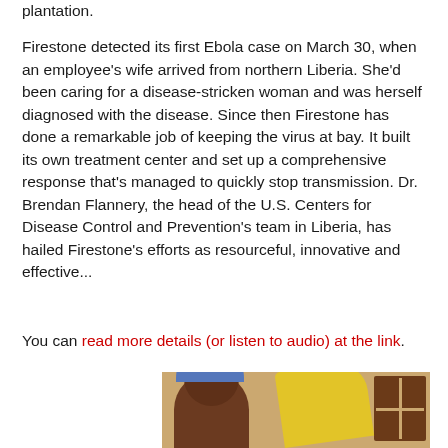plantation.
Firestone detected its first Ebola case on March 30, when an employee's wife arrived from northern Liberia. She'd been caring for a disease-stricken woman and was herself diagnosed with the disease. Since then Firestone has done a remarkable job of keeping the virus at bay. It built its own treatment center and set up a comprehensive response that's managed to quickly stop transmission. Dr. Brendan Flannery, the head of the U.S. Centers for Disease Control and Prevention's team in Liberia, has hailed Firestone's efforts as resourceful, innovative and effective...
You can read more details (or listen to audio) at the link.
[Figure (photo): A woman with a blue headscarf seated near a yellow object and a wooden window frame, in a warm-toned interior setting.]